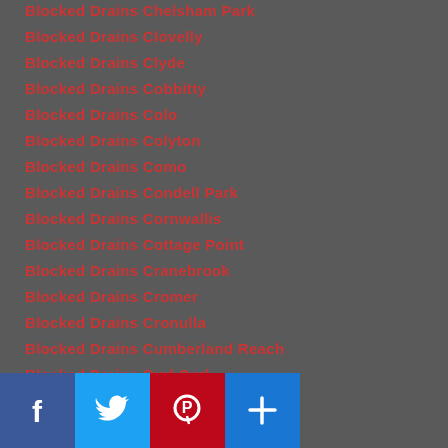Blocked Drains Chelsham Park
Blocked Drains Clovelly
Blocked Drains Clyde
Blocked Drains Cobbitty
Blocked Drains Colo
Blocked Drains Colyton
Blocked Drains Como
Blocked Drains Condell Park
Blocked Drains Cornwallis
Blocked Drains Cottage Point
Blocked Drains Cranebrook
Blocked Drains Cromer
Blocked Drains Cronulla
Blocked Drains Cumberland Reach
Blocked Drains Curl Curl
Blocked Drains Currans Hill
Blocked Drains Daceyville
Blocked Drains Darlinghurst
Blocked Drains Dawes Point